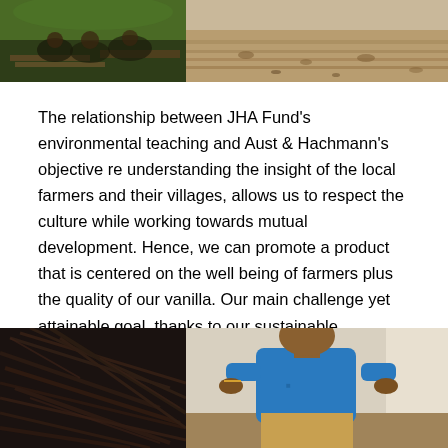[Figure (photo): Two photos side by side at top: left shows people sitting together in a green forest/outdoor setting, right shows sandy soil or farmland.]
The relationship between JHA Fund’s environmental teaching and Aust & Hachmann’s objective re understanding the insight of the local farmers and their villages, allows us to respect the culture while working towards mutual development. Hence, we can promote a product that is centered on the well being of farmers plus the quality of our vanilla. Our main challenge yet attainable goal, thanks to our sustainable approach, is international value standards in keeping with the structure of traditional agriculture.
[Figure (photo): Two photos side by side at bottom: left shows a pile of dark vanilla beans/pods, right shows a person in a blue shirt working outdoors.]